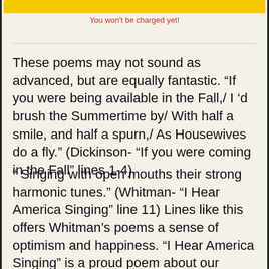[Figure (other): Yellow button bar at top of page]
You won't be charged yet!
These poems may not sound as advanced, but are equally fantastic. “If you were being available in the Fall,/ I ’d brush the Summertime by/ With half a smile, and half a spurn,/ As Housewives do a fly.” (Dickinson- “If you were coming in the Fall” lines 1-4).
“ Singing with open mouths their strong harmonic tunes.” (Whitman- “I Hear America Singing” line 11) Lines like this offers Whitman’s poems a sense of optimism and happiness. “I Hear America Singing” is a proud poem about our country’s content and thorough work. “I celebrate myself and sing myself,”